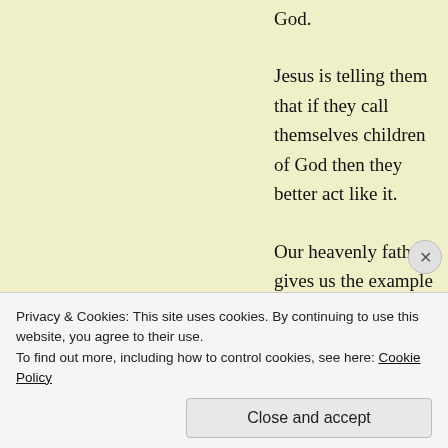God.
Jesus is telling them that if they call themselves children of God then they better act like it.
Our heavenly father gives us the example of what it means to love without giving a thought for getting anything in return.
He pours out his rain and he causes the sun to shine on his whole creation. He sustains his creation. He gives and gives and gives.
He gives of himself without measure.
Privacy & Cookies: This site uses cookies. By continuing to use this website, you agree to their use.
To find out more, including how to control cookies, see here: Cookie Policy
Close and accept